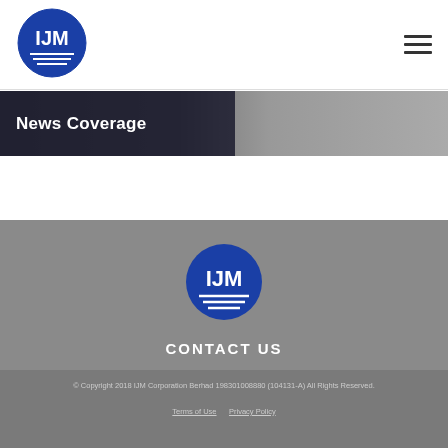IJM Corporation logo and navigation menu
[Figure (logo): IJM Corporation Berhad circular logo with blue circle, white IJM letters, and horizontal wave lines below]
News Coverage
[Figure (logo): IJM Corporation Berhad circular logo (footer version) with blue circle, white IJM letters]
CONTACT US
© Copyright 2018 IJM Corporation Berhad 198301008880 (104131-A) All Rights Reserved.
Terms of Use   Privacy Policy